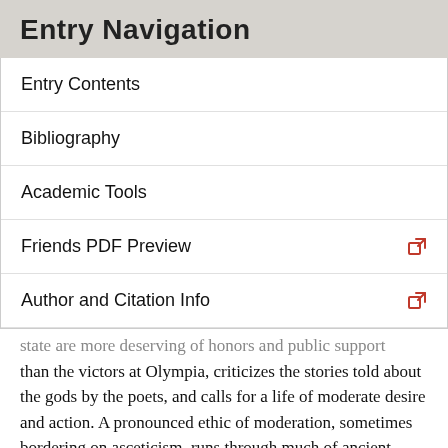Entry Navigation
Entry Contents
Bibliography
Academic Tools
Friends PDF Preview
Author and Citation Info
state are more deserving of honors and public support than the victors at Olympia, criticizes the stories told about the gods by the poets, and calls for a life of moderate desire and action. A pronounced ethic of moderation, sometimes bordering on asceticism, runs through much of ancient Greek ethical thought, beginning with Solon and Xenophanes and continuing through Socrates and Plato to the Epicureans and Cynics. Xenophanes' conception of a “one greatest god” who “shakes all things by the thought (or will) of his mind” (noou phreni) may have helped to encourage Heraclitus' belief in an ‘intelligence’ (gnōmē) that steers all things